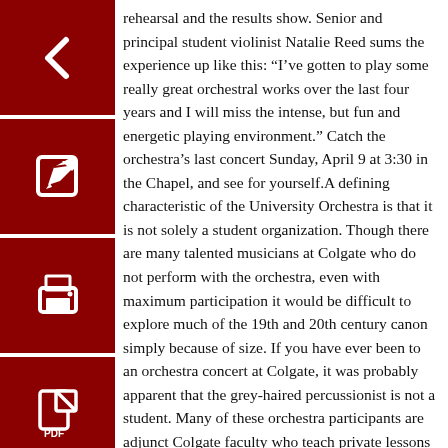[Figure (other): Four dark red navigation icon buttons arranged vertically on the left: back arrow, edit/pencil, print, and PDF document icons.]
rehearsal and the results show. Senior and principal student violinist Natalie Reed sums the experience up like this: “I’ve gotten to play some really great orchestral works over the last four years and I will miss the intense, but fun and energetic playing environment.” Catch the orchestra’s last concert Sunday, April 9 at 3:30 in the Chapel, and see for yourself.A defining characteristic of the University Orchestra is that it is not solely a student organization. Though there are many talented musicians at Colgate who do not perform with the orchestra, even with maximum participation it would be difficult to explore much of the 19th and 20th century canon simply because of size. If you have ever been to an orchestra concert at Colgate, it was probably apparent that the grey-haired percussionist is not a student. Many of these orchestra participants are adjunct Colgate faculty who teach private lessons to the students they are playing with, many are musicians by profession who make the rounds in Central New York performing groups, and some are simply interested and enthusiastic amateurs keeping up their favorite pastime. There is a unique dialogue which occurs when the wisdom of experience meets the fervor of first encounters. For the professionals, playing with Colgate musicians may provide fresh perspectives. For the students, the coupling with veteran players provides an occasion to rise to new technical heights and interpretive clarity.Another significant aspect of the University Orchestra is its openness to students from outside the music department. Senior cellist, past concerto competition winner and president of the orchestra John McGann, when asked what he would miss after leaving the organization upon graduation, said “I’ll miss